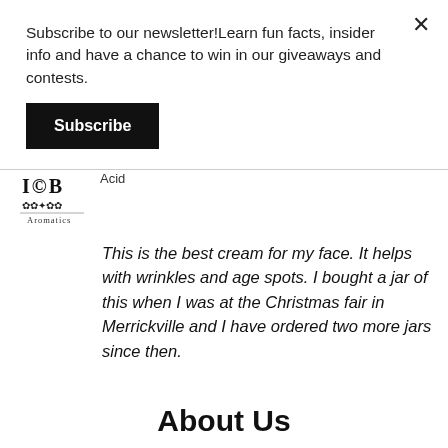Subscribe to our newsletter!Learn fun facts, insider info and have a chance to win in our giveaways and contests.
Subscribe
[Figure (logo): IOB Aromatics logo with decorative flourish and text]
Acid
This is the best cream for my face. It helps with wrinkles and age spots. I bought a jar of this when I was at the Christmas fair in Merrickville and I have ordered two more jars since then.
About Us